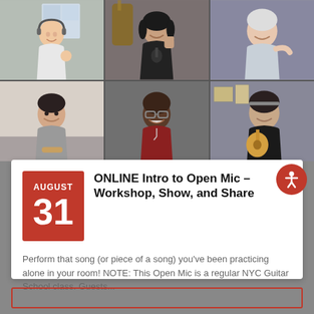[Figure (photo): Video call screenshot showing 6 people in a 2x3 grid. Top row: woman with headphones smiling, woman in black t-shirt with fist raised, older person. Bottom row: young man smiling, Black man in red shirt with glasses, woman in black holding a guitar.]
ONLINE Intro to Open Mic - Workshop, Show, and Share
Perform that song (or piece of a song) you've been practicing alone in your room! NOTE: This Open Mic is a regular NYC Guitar School class. Guests...